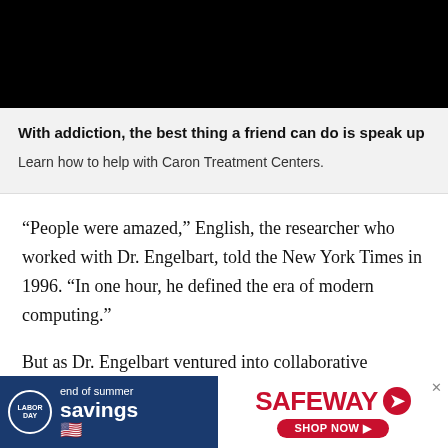[Figure (photo): Black rectangular image at top of page, likely a video thumbnail or header image]
With addiction, the best thing a friend can do is speak up
Learn how to help with Caron Treatment Centers.
“People were amazed,” English, the researcher who worked with Dr. Engelbart, told the New York Times in 1996. “In one hour, he defined the era of modern computing.”
But as Dr. Engelbart ventured into collaborative computing, in which several computers are joined together to complete tasks, his lab slowly unraveled
[Figure (infographic): Safeway Labor Day end of summer savings advertisement banner at bottom of page]